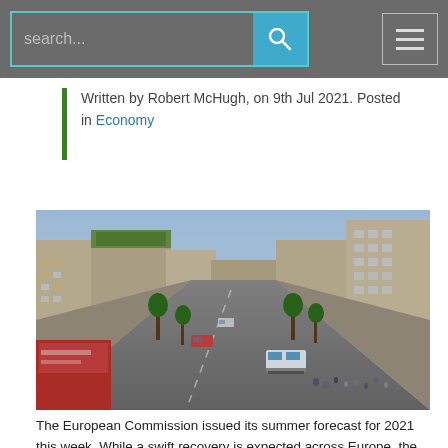search...
Written by Robert McHugh, on 9th Jul 2021. Posted in Economy
[Figure (photo): Aerial perspective rendering of a modern urban street scene with tram, pedestrians, trees, and mixed-use buildings]
The European Commission issued its summer forecast for 2021 this week. While a swift recovery is expected across Europe, the Commission upgraded its forecasts for the Irish economy, which would see Ireland be the